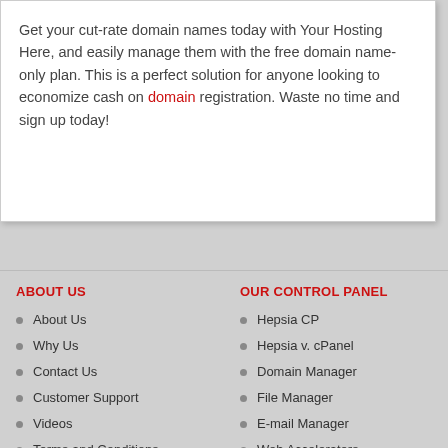Get your cut-rate domain names today with Your Hosting Here, and easily manage them with the free domain name-only plan. This is a perfect solution for anyone looking to economize cash on domain registration. Waste no time and sign up today!
ABOUT US
OUR CONTROL PANEL
About Us
Why Us
Contact Us
Customer Support
Videos
Terms and Conditions
Hepsia CP
Hepsia v. cPanel
Domain Manager
File Manager
E-mail Manager
Web Accelerators